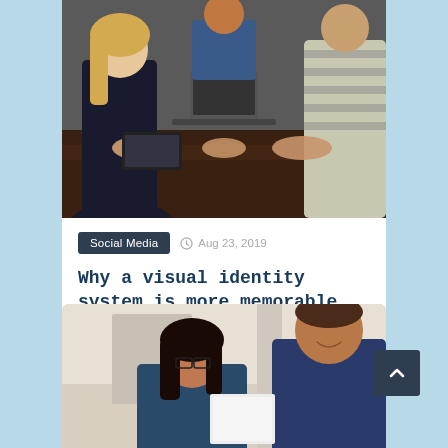[Figure (photo): Group of business people sitting around a conference table with a laptop, having a meeting.]
Social Media  Aug 23, 2019
Why a visual identity system is more memorable than a logo
[Figure (photo): Two people, a woman with glasses and a man, looking at something together and smiling.]